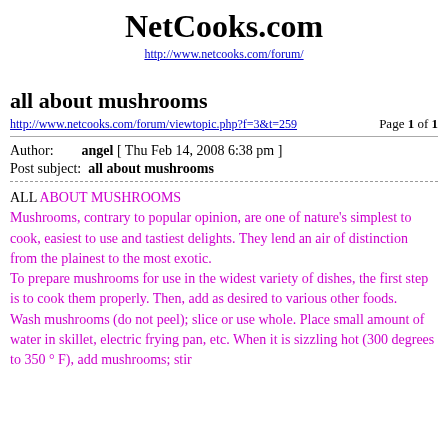NetCooks.com
http://www.netcooks.com/forum/
all about mushrooms
http://www.netcooks.com/forum/viewtopic.php?f=3&t=259   Page 1 of 1
Author:   angel [ Thu Feb 14, 2008 6:38 pm ]
Post subject:  all about mushrooms
ALL ABOUT MUSHROOMS
Mushrooms, contrary to popular opinion, are one of nature's simplest to cook, easiest to use and tastiest delights. They lend an air of distinction from the plainest to the most exotic.
To prepare mushrooms for use in the widest variety of dishes, the first step is to cook them properly. Then, add as desired to various other foods.
Wash mushrooms (do not peel); slice or use whole. Place small amount of water in skillet, electric frying pan, etc. When it is sizzling hot (300 degrees to 350 ° F), add mushrooms; stir